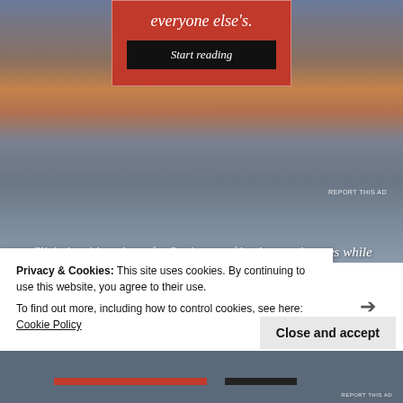[Figure (screenshot): Red advertisement box at top center with white italic text 'everyone else's.' and a black 'Start reading' button]
REPORT THIS AD
Click the video above for 2 minutes of background waves while reading.
I like walking on the beach. It is good for the mind, body, and soul – and refreshing on my feet.
Spring is the time of Earth's increasing tilt relative to the
Privacy & Cookies: This site uses cookies. By continuing to use this website, you agree to their use.
To find out more, including how to control cookies, see here: Cookie Policy
Close and accept